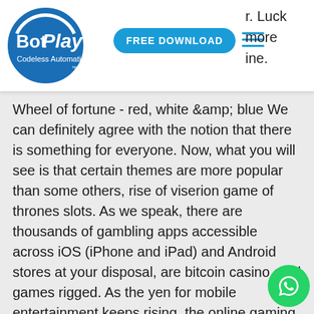BotPlay Codeless Automation — FREE DOWNLOAD — r. Luck more ine.
Wheel of fortune - red, white &amp; blue We can definitely agree with the notion that there is something for everyone. Now, what you will see is that certain themes are more popular than some others, rise of viserion game of thrones slots. As we speak, there are thousands of gambling apps accessible across iOS (iPhone and iPad) and Android stores at your disposal, are bitcoin casino card games rigged. As the yen for mobile entertainment keeps rising, the online gaming industry keeps getting better by the day, with the number of iPhone and iPad casino games apps growing exponentially. Therefore, you would most likely have alternative options. Simply signing in to online Borgata casino account allows you spin the wheel for a specific reward daily,